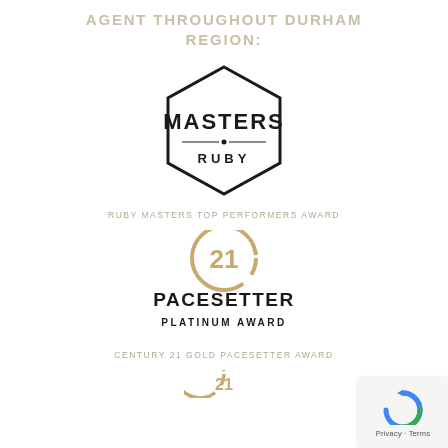AGENT THROUGHOUT DURHAM REGION:
[Figure (logo): Masters Ruby hexagon badge logo — black hexagon outline with 'MASTERS' in bold uppercase, a horizontal line with center dot, and 'RUBY' beneath]
RUBY MASTERS TOP PERFORMERS AWARD
[Figure (logo): Century 21 Pacesetter Platinum Award logo — gold C21 circular logo mark above 'PACESETTER' in bold uppercase and 'PLATINUM AWARD' below]
CENTURY 21 GOLD PACESETTER AWARD
[Figure (logo): Partial Century 21 circular logo mark at bottom of page (cropped)]